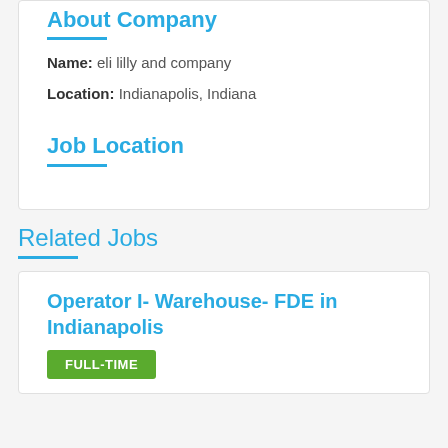About Company
Name: eli lilly and company
Location: Indianapolis, Indiana
Job Location
Related Jobs
Operator I- Warehouse- FDE in Indianapolis
FULL-TIME